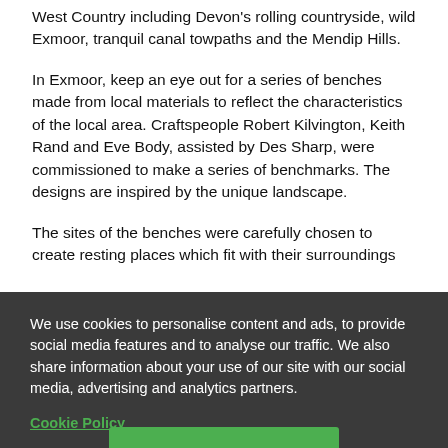West Country including Devon's rolling countryside, wild Exmoor, tranquil canal towpaths and the Mendip Hills.
In Exmoor, keep an eye out for a series of benches made from local materials to reflect the characteristics of the local area. Craftspeople Robert Kilvington, Keith Rand and Eve Body, assisted by Des Sharp, were commissioned to make a series of benchmarks. The designs are inspired by the unique landscape.
The sites of the benches were carefully chosen to create resting places which fit with their surroundings
We use cookies to personalise content and ads, to provide social media features and to analyse our traffic. We also share information about your use of our site with our social media, advertising and analytics partners.
Cookie Policy